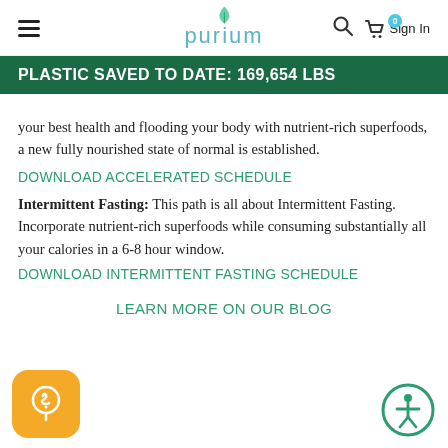Purium — navigation header with hamburger menu, logo, search, cart (0), Sign In
PLASTIC SAVED TO DATE: 169,654 LBS
your best health and flooding your body with nutrient-rich superfoods, a new fully nourished state of normal is established.
DOWNLOAD ACCELERATED SCHEDULE
Intermittent Fasting: This path is all about Intermittent Fasting. Incorporate nutrient-rich superfoods while consuming substantially all your calories in a 6-8 hour window.
DOWNLOAD INTERMITTENT FASTING SCHEDULE
LEARN MORE ON OUR BLOG
[Figure (illustration): Orange rounded-square coupon/discount button icon with dollar sign]
[Figure (illustration): Green circular accessibility icon with person symbol]